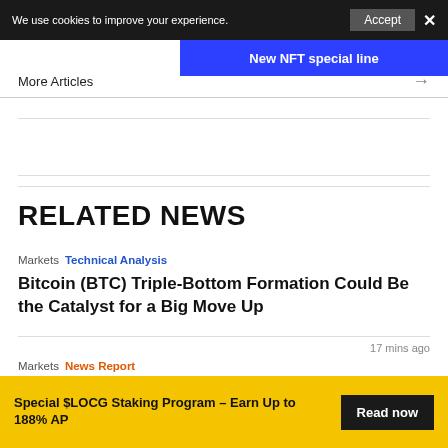We use cookies to improve your experience.
New NFT special line
More Articles
RELATED NEWS
Markets  Technical Analysis
Bitcoin (BTC) Triple-Bottom Formation Could Be the Catalyst for a Big Move Up
17 mins ago
Markets  News Report
Special $LOCG Staking Program – Earn Up to 188% AP